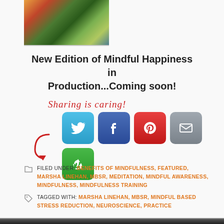[Figure (photo): Autumn forest hillside with colorful foliage — orange, red, yellow, and green trees with blue-gray mountains in background]
New Edition of Mindful Happiness in Production...Coming soon!
[Figure (infographic): Sharing is caring! text with red arrow and five social media share buttons: Twitter (blue), Facebook (dark blue), Pinterest (red), Email (gray), and a green share/recycle button]
FILED UNDER: BENEFITS OF MINDFULNESS, FEATURED, MARSHA LINEHAN, MBSR, MEDITATION, MINDFUL AWARENESS, MINDFULNESS, MINDFULNESS TRAINING
TAGGED WITH: MARSHA LINEHAN, MBSR, MINDFUL BASED STRESS REDUCTION, NEUROSCIENCE, PRACTICE